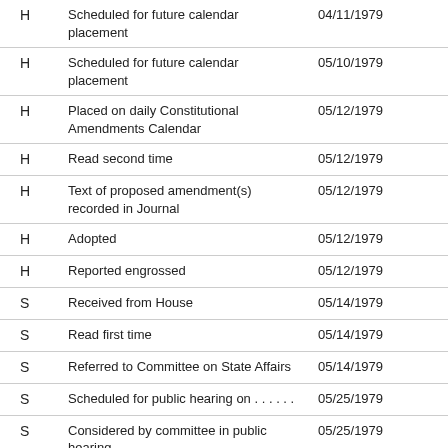|  |  |  |
| --- | --- | --- |
| H | Scheduled for future calendar placement | 04/11/1979 |
| H | Scheduled for future calendar placement | 05/10/1979 |
| H | Placed on daily Constitutional Amendments Calendar | 05/12/1979 |
| H | Read second time | 05/12/1979 |
| H | Text of proposed amendment(s) recorded in Journal | 05/12/1979 |
| H | Adopted | 05/12/1979 |
| H | Reported engrossed | 05/12/1979 |
| S | Received from House | 05/14/1979 |
| S | Read first time | 05/14/1979 |
| S | Referred to Committee on State Affairs | 05/14/1979 |
| S | Scheduled for public hearing on . . . . . . | 05/25/1979 |
| S | Considered by committee in public hearing | 05/25/1979 |
| S | Reported from committee favorably | 05/26/1979 |